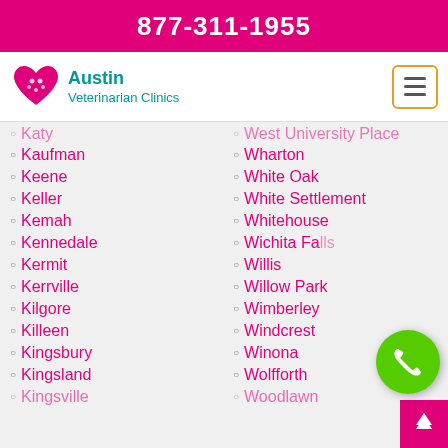877-311-1955
[Figure (logo): Austin Veterinarian Clinics logo with heart and paw icon]
Katy (partial/faded)
Kaufman
Keene
Keller
Kemah
Kennedale
Kermit
Kerrville
Kilgore
Killeen
Kingsbury
Kingsland
Kingsville
West University Place (partial/faded)
Wharton
White Oak
White Settlement
Whitehouse
Wichita Falls
Willis
Willow Park
Wimberley
Windcrest
Winona
Wolfforth
Woodlawn